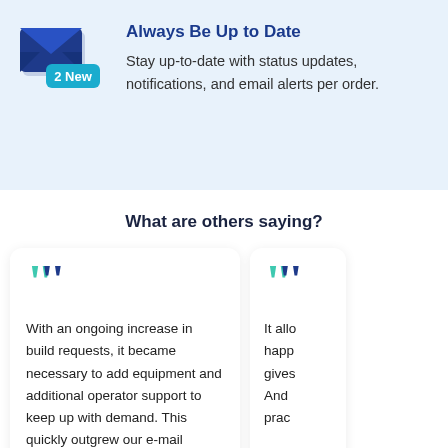[Figure (illustration): Dark blue envelope icon with a teal badge showing '2 New']
Always Be Up to Date
Stay up-to-date with status updates, notifications, and email alerts per order.
What are others saying?
[Figure (illustration): Large teal and dark blue quotation mark icon on a white card]
With an ongoing increase in build requests, it became necessary to add equipment and additional operator support to keep up with demand. This quickly outgrew our e-mail system
[Figure (illustration): Large teal and dark blue quotation mark icon on a partially visible white card]
It allo happ gives And prac